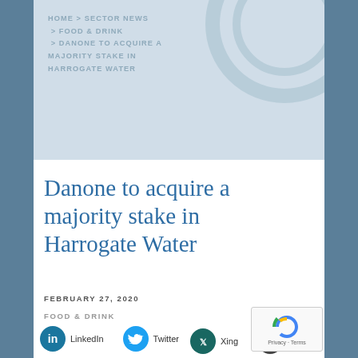HOME > SECTOR NEWS > FOOD & DRINK > DANONE TO ACQUIRE A MAJORITY STAKE IN HARROGATE WATER
Danone to acquire a majority stake in Harrogate Water
FEBRUARY 27, 2020
FOOD & DRINK
[Figure (infographic): Social share icons: LinkedIn (teal circular icon), Twitter (cyan circular icon), Xing (dark teal circular icon), Email (dark grey circular icon)]